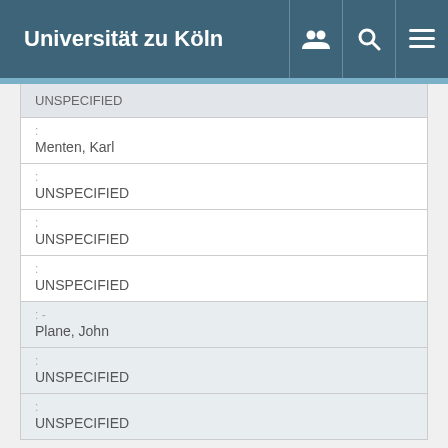Universität zu Köln
| UNSPECIFIED |
| --- |
| : | Menten, Karl |
| : | UNSPECIFIED |
| : | UNSPECIFIED |
| : | UNSPECIFIED |
| :- | Plane, John |
| : | UNSPECIFIED |
| : | UNSPECIFIED |